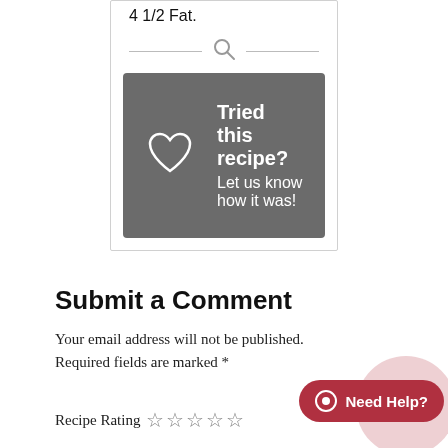4 1/2 Fat.
[Figure (other): Search icon with horizontal divider lines on each side]
[Figure (other): Dark gray banner with heart outline icon, bold text 'Tried this recipe?' and subtitle 'Let us know how it was!']
Submit a Comment
Your email address will not be published. Required fields are marked *
Recipe Rating ☆☆☆☆☆
[Figure (other): Red 'Need Help?' chat button with circular icon]
[Figure (other): Pink/red blurred circular background decoration behind Need Help button]